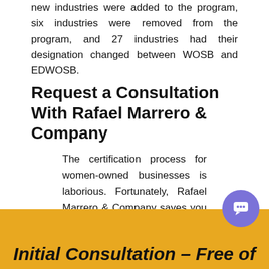new industries were added to the program, six industries were removed from the program, and 27 industries had their designation changed between WOSB and EDWOSB.
Request a Consultation With Rafael Marrero & Company
The certification process for women-owned businesses is laborious. Fortunately, Rafael Marrero & Company saves you the headaches of applying. Receive a consultation to discover how to apply for a women-owned business certification with our expert team.
Initial Consultation – Free of